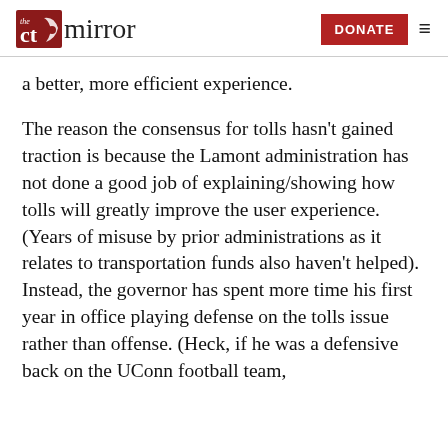The CT Mirror — DONATE
a better, more efficient experience.
The reason the consensus for tolls hasn't gained traction is because the Lamont administration has not done a good job of explaining/showing how tolls will greatly improve the user experience. (Years of misuse by prior administrations as it relates to transportation funds also haven't helped). Instead, the governor has spent more time his first year in office playing defense on the tolls issue rather than offense. (Heck, if he was a defensive back on the UConn football team,